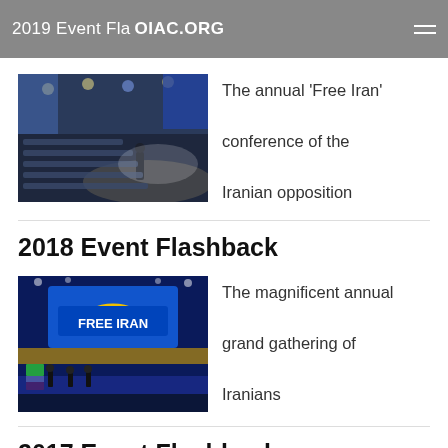2019 Event Flashback — OIAC.ORG
[Figure (photo): Large conference hall filled with audience, speaker at podium on stage with blue and yellow lighting]
The annual ‘Free Iran’ conference of the Iranian opposition
2018 Event Flashback
[Figure (photo): Free Iran event venue with large blue and yellow FREE IRAN sign, flags and crowd on stage]
The magnificent annual grand gathering of Iranians
2017 Event Flashback